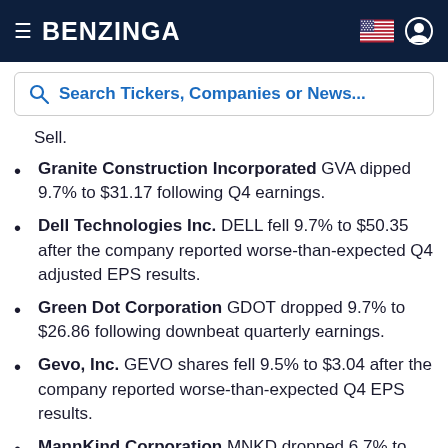BENZINGA
[Figure (screenshot): Search bar with text 'Search Tickers, Companies or News...']
Sell.
Granite Construction Incorporated GVA dipped 9.7% to $31.17 following Q4 earnings.
Dell Technologies Inc. DELL fell 9.7% to $50.35 after the company reported worse-than-expected Q4 adjusted EPS results.
Green Dot Corporation GDOT dropped 9.7% to $26.86 following downbeat quarterly earnings.
Gevo, Inc. GEVO shares fell 9.5% to $3.04 after the company reported worse-than-expected Q4 EPS results.
MannKind Corporation MNKD dropped 6.7% to $2.7150 following Q4 results.